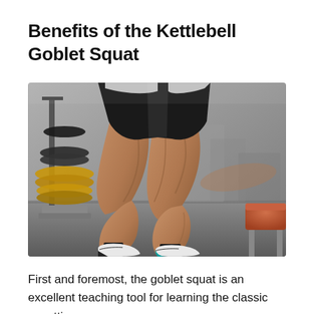Benefits of the Kettlebell Goblet Squat
[Figure (photo): Close-up photo of a muscular person's legs standing in a gym, showing highly defined quadriceps and calves. The person wears black shorts and white/teal athletic shoes. Weight plates on a rack are visible on the left, and gym equipment is visible in the blurred background.]
First and foremost, the goblet squat is an excellent teaching tool for learning the classic squatting